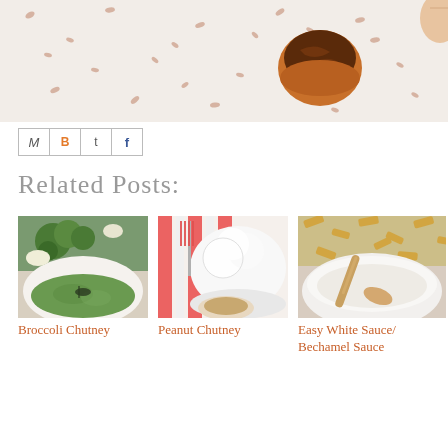[Figure (photo): Top banner photo showing a chocolate-glazed pastry/date on a white speckled fabric background]
[Figure (other): Social sharing buttons: Email (M), Blogger (B), Twitter (t), Facebook (f)]
Related Posts:
[Figure (photo): Thumbnail of Broccoli Chutney dish — green puree/chutney in white bowl with broccoli in background]
Broccoli Chutney
[Figure (photo): Thumbnail of Peanut Chutney — white bowl with scoops and small dip bowl on red striped cloth with fork]
Peanut Chutney
[Figure (photo): Thumbnail of Easy White Sauce/Bechamel Sauce — white sauce in bowl with wooden spoon and pasta in background]
Easy White Sauce/ Bechamel Sauce